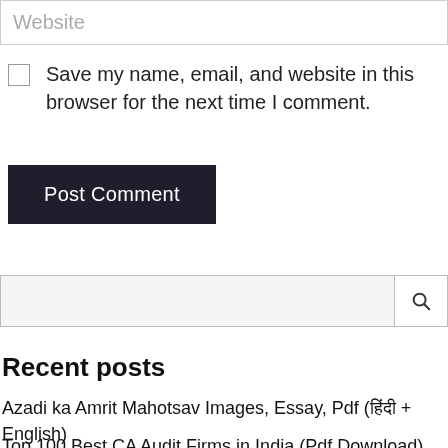Website
Save my name, email, and website in this browser for the next time I comment.
Post Comment
[Figure (other): Search bar with search icon button on the right]
Recent posts
Azadi ka Amrit Mahotsav Images, Essay, Pdf (हिंदी + English)
Top 100 Best CA Audit Firms in India (Pdf Download)